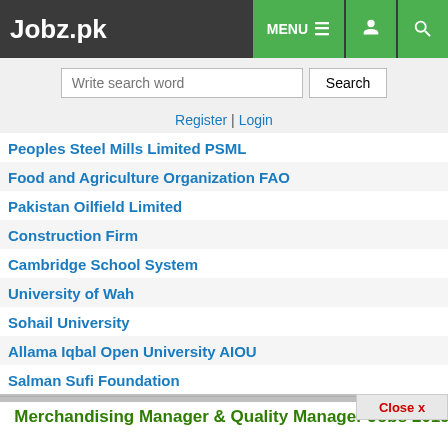Jobz.pk — MENU navigation header with search bar, Register | Login
Peoples Steel Mills Limited PSML
Food and Agriculture Organization FAO
Pakistan Oilfield Limited
Construction Firm
Cambridge School System
University of Wah
Sohail University
Allama Iqbal Open University AIOU
Salman Sufi Foundation
Merchandising Manager & Quality Manager Jobs 2019
Social share buttons: Share (0), WhatsApp (0), Tweet (0), Share (0), Pin (0), Email (0)
Action buttons: Job Closed, Save, Comment, Print
Arsam Pulp and Paper Board Industries Pvt Ltd